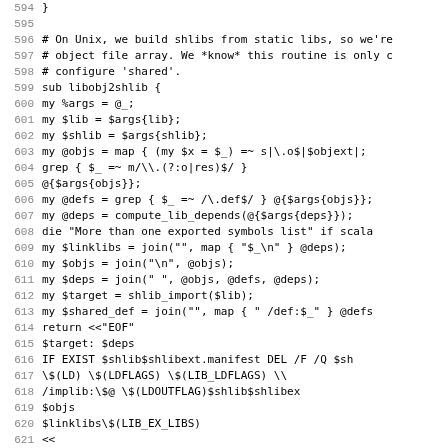Code listing lines 594-626, showing Perl subroutine libobj2shlib source code